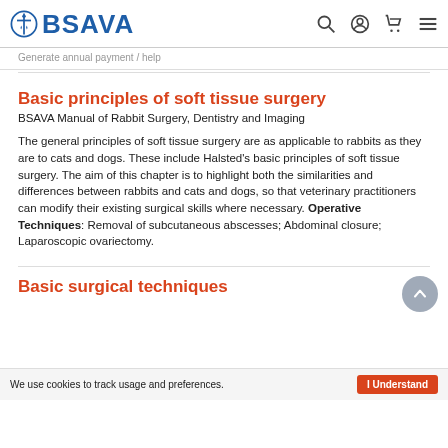BSAVA
Generate annual payment / help
Basic principles of soft tissue surgery
BSAVA Manual of Rabbit Surgery, Dentistry and Imaging
The general principles of soft tissue surgery are as applicable to rabbits as they are to cats and dogs. These include Halsted's basic principles of soft tissue surgery. The aim of this chapter is to highlight both the similarities and differences between rabbits and cats and dogs, so that veterinary practitioners can modify their existing surgical skills where necessary. Operative Techniques: Removal of subcutaneous abscesses; Abdominal closure; Laparoscopic ovariectomy.
Basic surgical techniques
We use cookies to track usage and preferences.
I Understand